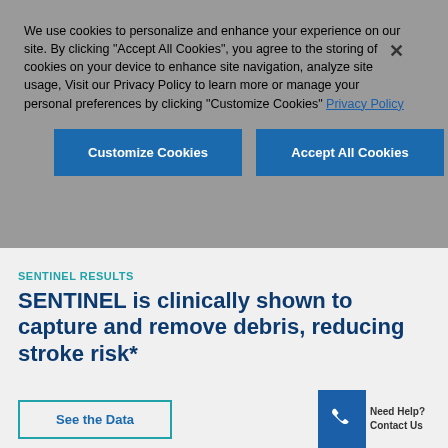We use cookies to personalize and enhance your experience on our site. By clicking "Accept All Cookies", you agree to the storing of cookies on your device to enhance site navigation, analyze site usage, Visit our Privacy Policy to learn more or manage your personal preferences by clicking "Customize Cookies" Privacy Policy
Customize Cookies
Accept All Cookies
SENTINEL Results
SENTINEL is clinically shown to capture and remove debris, reducing stroke risk*
See the Data
Need Help? Contact Us